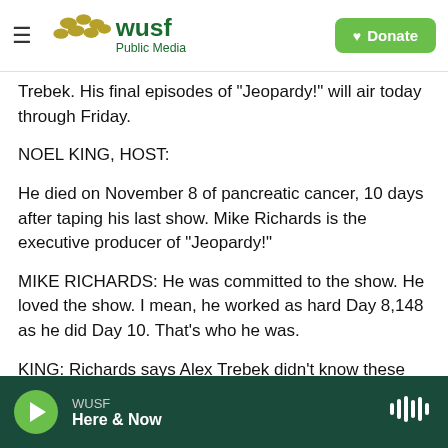WUSF Public Media — Donate
Trebek. His final episodes of "Jeopardy!" will air today through Friday.
NOEL KING, HOST:
He died on November 8 of pancreatic cancer, 10 days after taping his last show. Mike Richards is the executive producer of "Jeopardy!"
MIKE RICHARDS: He was committed to the show. He loved the show. I mean, he worked as hard Day 8,148 as he did Day 10. That's who he was.
KING: Richards says Alex Trebek didn't know these
WUSF Here & Now